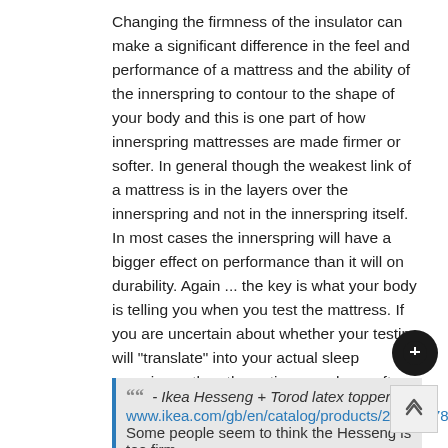Changing the firmness of the insulator can make a significant difference in the feel and performance of a mattress and the ability of the innerspring to contour to the shape of your body and this is one part of how innerspring mattresses are made firmer or softer. In general though the weakest link of a mattress is in the layers over the innerspring and not in the innerspring itself. In most cases the innerspring will have a bigger effect on performance than it will on durability. Again ... the key is what your body is telling you when you test the mattress. If you are uncertain about whether your testing will "translate" into your actual sleep experience then the options you have after a purchase to fine tune the mattress or to exchange or return the mattress would become a more important part of your personal value equation. Getting overly involved in coil count as a primary way to choose a mattress can be more misleading than helpful ( see here and post #10 here ).
" - Ikea Hesseng + Torod latex topper www.ikea.com/gb/en/catalog/products/20188478/. Some people seem to think the Hesseng is too firm...